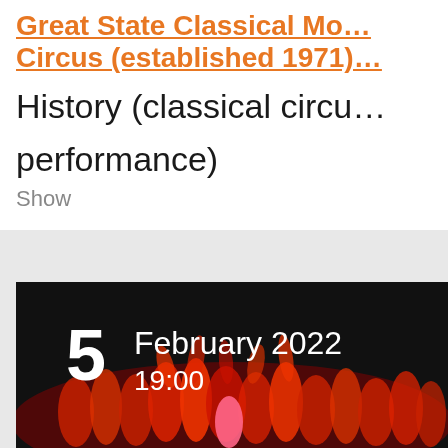Great State Classical Moscow Circus (established 1971)
History (classical circus performance)
Show
[Figure (photo): Event card showing a dark background with performers in red costumes dancing, overlaid with text: '5 February 2022 19:00']